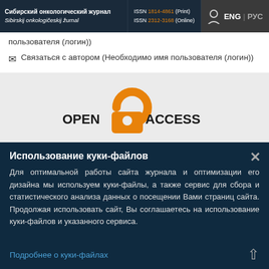Сибирский онкологический журнал | Sibirskij onkologičeskij žurnal | ISSN 1814-4861 (Print) | ISSN 2312-3168 (Online) | ENG | РУС
пользователя (логин))
✉ Связаться с автором (Необходимо имя пользователя (логин))
[Figure (logo): Open Access logo with orange padlock icon and text OPEN ACCESS]
Использование куки-файлов
Для оптимальной работы сайта журнала и оптимизации его дизайна мы используем куки-файлы, а также сервис для сбора и статистического анализа данных о посещении Вами страниц сайта. Продолжая использовать сайт, Вы соглашаетесь на использование куки-файлов и указанного сервиса.
Подробнее о куки-файлах